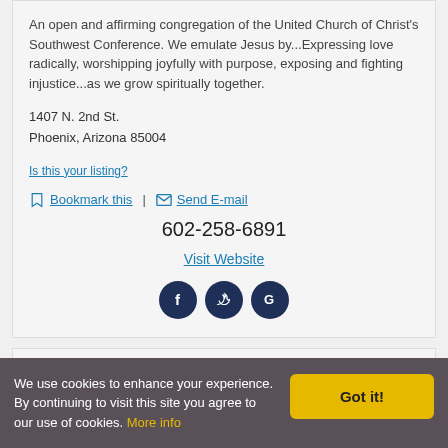An open and affirming congregation of the United Church of Christ's Southwest Conference. We emulate Jesus by...Expressing love radically, worshipping joyfully with purpose, exposing and fighting injustice...as we grow spiritually together.
1407 N. 2nd St.
Phoenix, Arizona 85004
Is this your listing?
Bookmark this | Send E-mail
602-258-6891
Visit Website
[Figure (infographic): Social media icons: Facebook, Twitter, Google]
We use cookies to enhance your experience. By continuing to visit this site you agree to our use of cookies. More info
Got it!